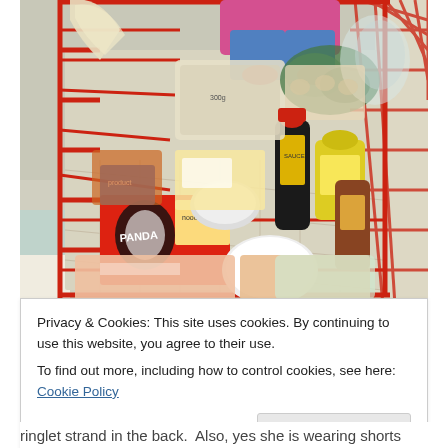[Figure (photo): A shopping cart filled with various grocery items including packaged noodles, sauces, condiments, vegetables, meat and other food items. The cart has a red metal frame with wire mesh basket. A child's legs are partially visible sitting in the cart's child seat. The store floor is visible in the background.]
Privacy & Cookies: This site uses cookies. By continuing to use this website, you agree to their use.
To find out more, including how to control cookies, see here: Cookie Policy
Close and accept
ringlet strand in the back.  Also, yes she is wearing shorts